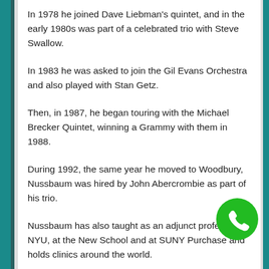In 1978 he joined Dave Liebman's quintet, and in the early 1980s was part of a celebrated trio with Steve Swallow.
In 1983 he was asked to join the Gil Evans Orchestra and also played with Stan Getz.
Then, in 1987, he began touring with the Michael Brecker Quintet, winning a Grammy with them in 1988.
During 1992, the same year he moved to Woodbury, Nussbaum was hired by John Abercrombie as part of his trio.
Nussbaum has also taught as an adjunct professor at NYU, at the New School and at SUNY Purchase and holds clinics around the world.
He has been married to wife Susan for 32 years and they